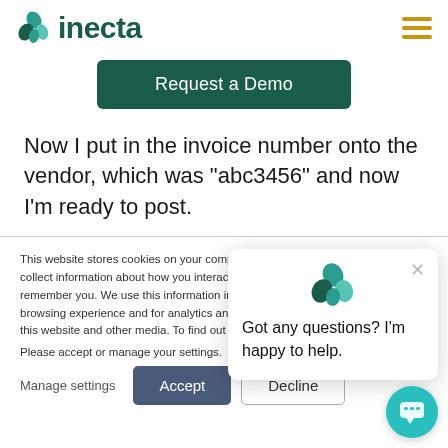[Figure (logo): Inecta logo with teal/green leaf icon and bold dark green 'inecta' wordmark]
[Figure (other): Hamburger menu icon with three gold/amber horizontal bars]
[Figure (other): Green 'Request a Demo' button]
Now I put in the invoice number onto the vendor, which was "abc3456" and now I'm ready to post.
This website stores cookies on your computer. These cookies are used to collect information about how you interact with our website and allow us to remember you. We use this information in order to improve and customize your browsing experience and for analytics and metrics about our visitors both on this website and other media. To find out more about the cookies we
Please accept or manage your settings.
Manage settings
Accept
Decline
[Figure (other): Chat popup with inecta logo and message: Got any questions? I'm happy to help.]
[Figure (other): Teal circular chat bubble button]